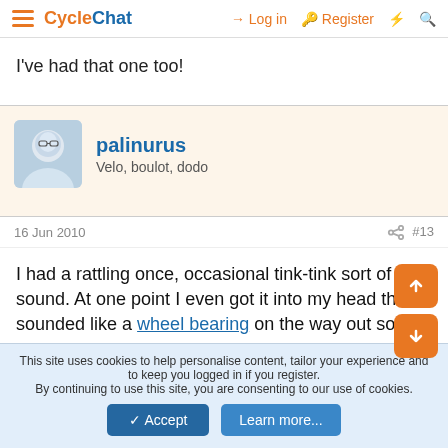CycleChat — Log in | Register
I've had that one too!
palinurus
Velo, boulot, dodo
16 Jun 2010  #13
I had a rattling once, occasional tink-tink sort of sound. At one point I even got it into my head that it sounded like a wheel bearing on the way out so I
This site uses cookies to help personalise content, tailor your experience and to keep you logged in if you register.
By continuing to use this site, you are consenting to our use of cookies.